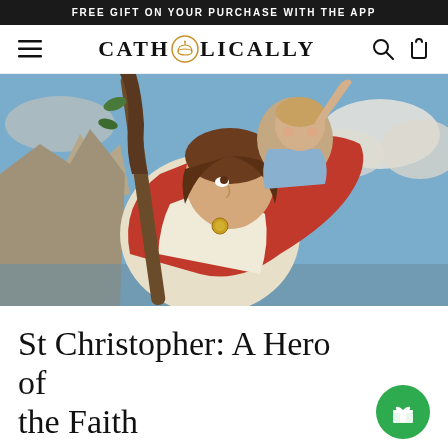FREE GIFT ON YOUR PURCHASE WITH THE APP
[Figure (logo): CATHOLICALLY logo with dome icon replacing the O, search icon and cart icon on the right, hamburger menu on the left]
[Figure (photo): Classical painting of Saint Christopher carrying the Christ child on his shoulders, with a red cloak and staff, set against a cloudy sky and rocky landscape]
St Christopher: A Hero of the Faith